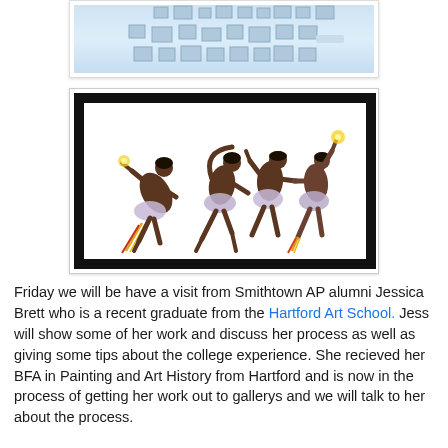[Figure (photo): Screenshot of an online gallery or portfolio interface with multiple small framed images arranged on a light blue background]
[Figure (illustration): Illustration of three dancing figures with outstretched arms and raised legs, depicted in a sequence of motion, with colorful accents, set within a thick black-bordered frame on white background]
Friday we will be have a visit from Smithtown AP alumni Jessica Brett who is a recent graduate from the Hartford Art School. Jess will show some of her work and discuss her process as well as giving some tips about the college experience. She recieved her BFA in Painting and Art History from Hartford and is now in the process of getting her work out to gallerys and we will talk to her about the process.